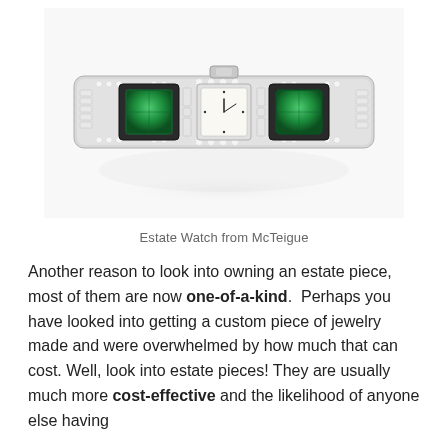[Figure (photo): An Art Deco diamond and emerald estate bracelet watch, platinum with round and baguette diamonds and two large cushion-cut emeralds flanking a small square watch face. Photographed on white background with a subtle reflection below.]
Estate Watch from McTeigue
Another reason to look into owning an estate piece, most of them are now one-of-a-kind.  Perhaps you have looked into getting a custom piece of jewelry made and were overwhelmed by how much that can cost. Well, look into estate pieces! They are usually much more cost-effective and the likelihood of anyone else having